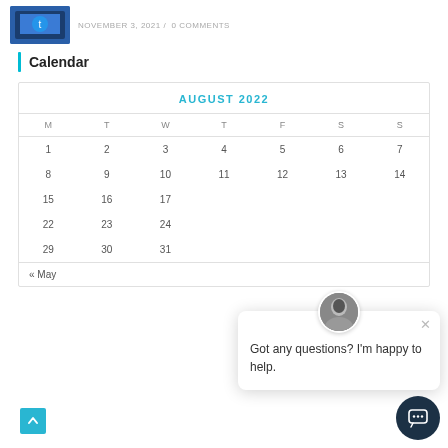[Figure (photo): Small thumbnail image (blue/dark tones, appears to be a device/tablet) on the left side of the top bar]
NOVEMBER 3, 2021 /  0 COMMENTS
Calendar
| M | T | W | T | F | S | S |
| --- | --- | --- | --- | --- | --- | --- |
| 1 | 2 | 3 | 4 | 5 | 6 | 7 |
| 8 | 9 | 10 | 11 | 12 | 13 | 14 |
| 15 | 16 | 17 |  |  |  |  |
| 22 | 23 | 24 |  |  |  |  |
| 29 | 30 | 31 |  |  |  |  |
« May
[Figure (screenshot): Chat popup with avatar photo of a man, close button (×), and message text: Got any questions? I'm happy to help.]
Got any questions? I'm happy to help.